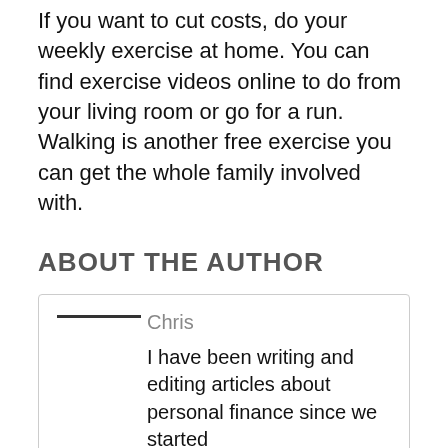If you want to cut costs, do your weekly exercise at home. You can find exercise videos online to do from your living room or go for a run. Walking is another free exercise you can get the whole family involved with.
ABOUT THE AUTHOR
Chris
I have been writing and editing articles about personal finance since we started MoneyHighStreet.com in 2006. In that time, I have been fortunate to have had a regular broadcasting spot on BBC Radio Essex and have also appeared on BBC Rip Off Britain and